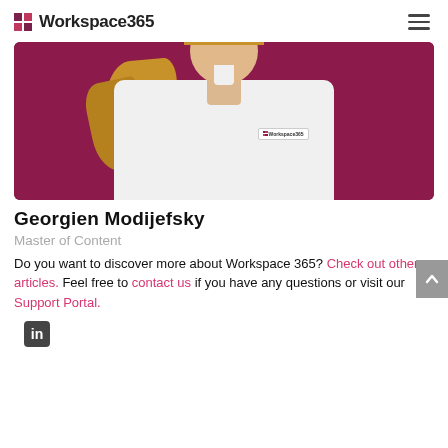Workspace365
[Figure (photo): Photo of Georgien Modijefsky wearing a white Workspace365 branded shirt against a purple/magenta background, showing upper body and head with long blonde hair]
Georgien Modijefsky
Master of Content
Do you want to discover more about Workspace 365? Check out other articles. Feel free to contact us if you have any questions or visit our Support Portal.
[Figure (logo): LinkedIn icon]